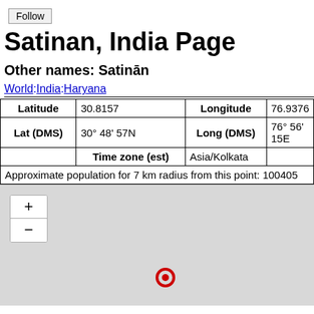Follow
Satinan, India Page
Other names: Satinān
World:India:Haryana
| Latitude | 30.8157 | Longitude | 76.9376 |
| --- | --- | --- | --- |
| Lat (DMS) | 30° 48' 57N | Long (DMS) | 76° 56' 15E |
|  | Time zone (est) | Asia/Kolkata |  |
Approximate population for 7 km radius from this point: 100405
[Figure (map): Interactive map showing location of Satinan, India with zoom controls (+/-) and a red circle marker indicating the geographic position of the point.]